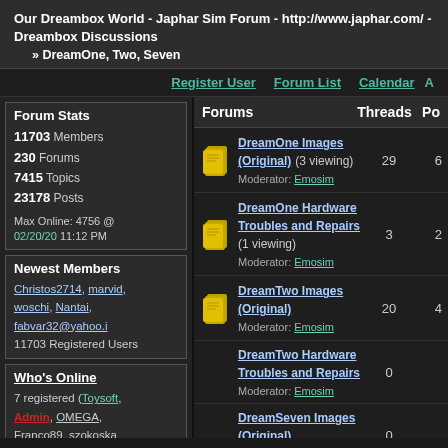Our Dreambox World - Japhar Sim Forum - http://www.japhar.com/ - Dreambox Discussions » DreamOne, Two, Seven
Register User  Forum List  Calendar  A
Forum Stats
11703 Members
230 Forums
7415 Topics
23178 Posts

Max Online: 4756 @ 02/20/20 11:12 PM
Newest Members
Christos2714, marvid, woschi, Nantai, fabvar32@yahoo.i
11703 Registered Users
Who's Online
7 registered (Toysoft, Admin, OMEGA, Franco89, szokoska
| Forums | Threads | Po |
| --- | --- | --- |
| DreamOne Images (Original) (3 viewing) Moderator: Emosim | 29 | 6 |
| DreamOne Hardware Troubles and Repairs (1 viewing) Moderator: Emosim | 3 | 2 |
| DreamTwo Images (Original) Moderator: Emosim | 20 | 4 |
| DreamTwo Hardware Troubles and Repairs Moderator: Emosim | 0 |  |
| DreamSeven Images (Original) Moderator: Emosim | 0 |  |
| DreamSeven Hardware |  |  |